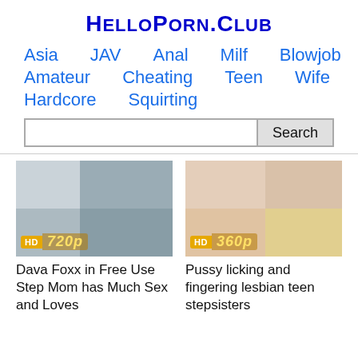HelloPorn.club
Asia
JAV
Anal
Milf
Blowjob
Amateur
Cheating
Teen
Wife
Hardcore
Squirting
[Figure (screenshot): Video thumbnail showing HD 720p badge]
Dava Foxx in Free Use Step Mom has Much Sex and Loves
[Figure (screenshot): Video thumbnail showing HD 360p badge]
Pussy licking and fingering lesbian teen stepsisters